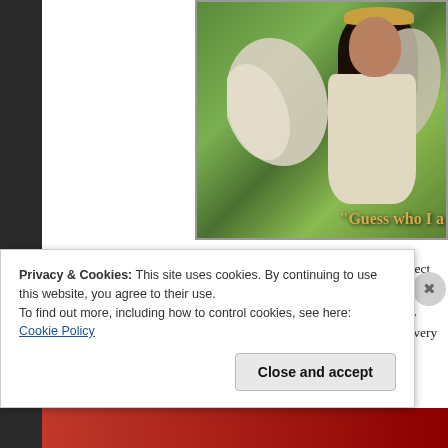[Figure (photo): A woman dressed as an angel with white wings and a golden crown/halo headpiece, wearing a white dress, standing outdoors in front of green foliage. Text overlay reads 'Guess who I a']
Throughout it all, I was like COME ON!! Do they really expect that could actually happen? Ok, maybe Mary was too good a p plague, she did not want to lie to her husband about the baby, Lola penniless... I can sort of get that... if I squeeze my eyes very
Privacy & Cookies: This site uses cookies. By continuing to use this website, you agree to their use.
To find out more, including how to control cookies, see here:
Cookie Policy
Close and accept